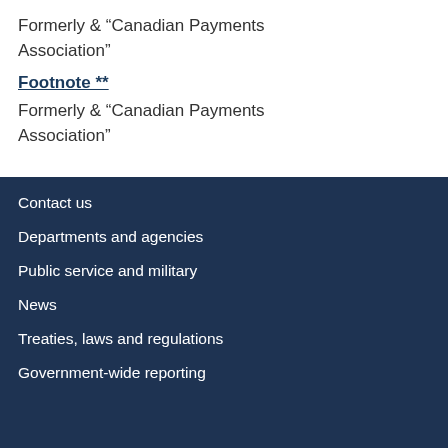Formerly & “Canadian Payments Association”
Footnote **
Formerly & “Canadian Payments Association”
Contact us
Departments and agencies
Public service and military
News
Treaties, laws and regulations
Government-wide reporting